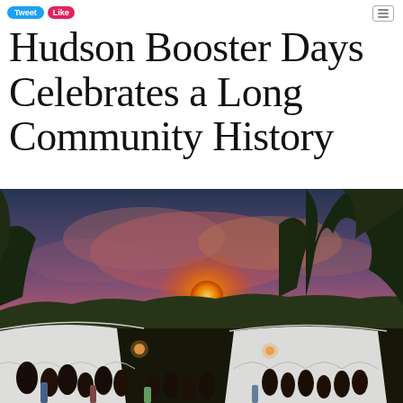Tweet  Like  [settings icon]
Hudson Booster Days Celebrates a Long Community History
[Figure (photo): Outdoor evening festival scene with white event tents, crowds of people milling about, and a vivid orange and red sunset sky through trees in the background.]